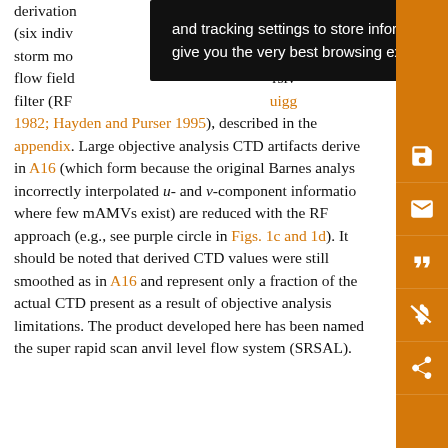derivation ... period (six indiv... ed for storm mo... o a flow field... rsiv filter (RF... Quigg 1982; Hayden and Purser 1995), described in the appendix. Large objective analysis CTD artifacts derive in A16 (which form because the original Barnes analys incorrectly interpolated u- and v-component informatio where few mAMVs exist) are reduced with the RF approach (e.g., see purple circle in Figs. 1c and 1d). It should be noted that derived CTD values were still smoothed as in A16 and represent only a fraction of the actual CTD present as a result of objective analysis limitations. The product developed here has been named the super rapid scan anvil level flow system (SRSAL).